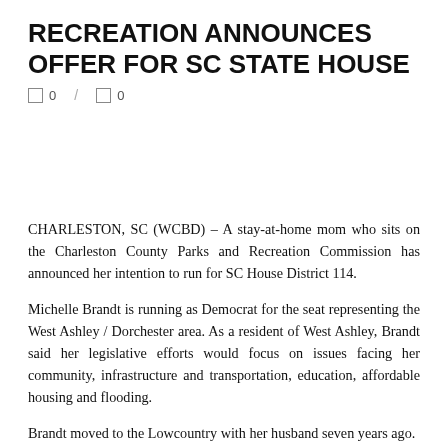RECREATION ANNOUNCES OFFER FOR SC STATE HOUSE
🔲 0 / 🔲 0
CHARLESTON, SC (WCBD) – A stay-at-home mom who sits on the Charleston County Parks and Recreation Commission has announced her intention to run for SC House District 114.
Michelle Brandt is running as Democrat for the seat representing the West Ashley / Dorchester area. As a resident of West Ashley, Brandt said her legislative efforts would focus on issues facing her community, infrastructure and transportation, education, affordable housing and flooding.
Brandt moved to the Lowcountry with her husband seven years ago.